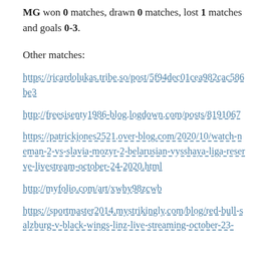MG won 0 matches, drawn 0 matches, lost 1 matches and goals 0-3.
Other matches:
https://ricardolukas.tribe.so/post/5f94dec01cea982cac586be3
http://freesisenty1986-blog.logdown.com/posts/8191067
https://patrickjones2521.over-blog.com/2020/10/watch-neman-2-vs-slavia-mozyr-2-belarusian-vysshaya-liga-reserve-livestream-october-24-2020.html
http://myfolio.com/art/xwby98zcwb
https://sportmaster2014.mystrikingly.com/blog/red-bull-salzburg-v-black-wings-linz-live-streaming-october-23-